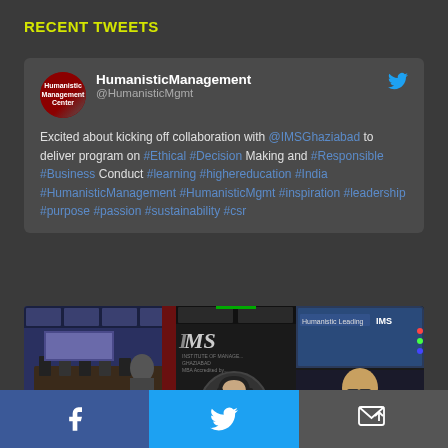RECENT TWEETS
HumanisticManagement @HumanisticMgmt Excited about kicking off collaboration with @IMSGhaziabad to deliver program on #Ethical #Decision Making and #Responsible #Business Conduct #learning #highereducation #India #HumanisticManagement #HumanisticMgmt #inspiration #leadership #purpose #passion #sustainability #csr
[Figure (photo): Photo collage showing IMS Ghaziabad event with conference room, IMS logo, circular portrait of speaker with headphones, and online meeting screenshots]
Facebook share button, Twitter share button, Email share button